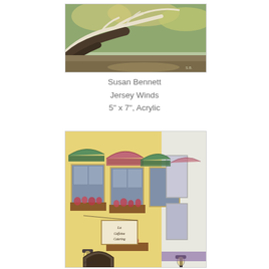[Figure (photo): Painting of trees with twisted branches against a landscape background, acrylic artwork by Susan Bennett titled 'Jersey Winds']
Susan Bennett
Jersey Winds
5" x 7", Acrylic
[Figure (photo): Painting of a European-style building facade with colorful green and pink striped awnings, flower boxes with red flowers, a hanging sign for a restaurant, and arched doorway, signed 'sField'11']